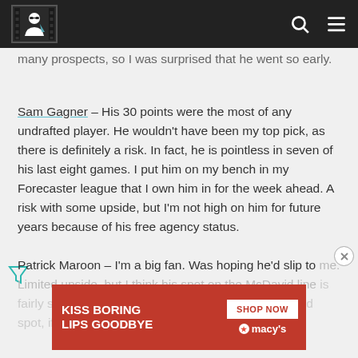[Site logo with navigation icons]
many prospects, so I was surprised that he went so early.
Sam Gagner – His 30 points were the most of any undrafted player. He wouldn't have been my top pick, as there is definitely a risk. In fact, he is pointless in seven of his last eight games. I put him on my bench in my Forecaster league that I own him in for the week ahead. A risk with some upside, but I'm not high on him for future years because of his free agency status.
Patrick Maroon – I'm a big fan. Was hoping he'd slip to me. Limited upside, but I think his spot on the McDavid line is fairly secure as long as the injuries aren't serious. And... I may claim him just to solidify my Oilers spot, if I may be so bold...
[Figure (screenshot): Macy's advertisement banner: KISS BORING LIPS GOODBYE with SHOP NOW button and Macy's logo]